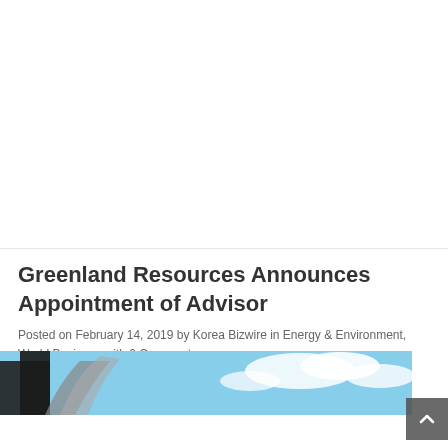Greenland Resources Announces Appointment of Advisor
Posted on February 14, 2019 by Korea Bizwire in Energy & Environment, World Business with 0 Comments
[Figure (photo): Broken image placeholder icon]
[Figure (photo): Photo showing buildings and blue sky with clouds]